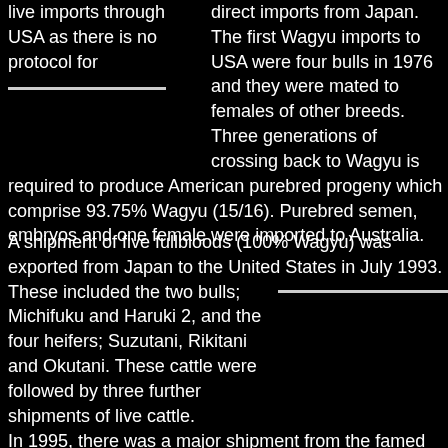live imports through USA as there is no protocol for direct imports from Japan. The first Wagyu imports to USA were four bulls in 1976 and they were mated to females of other breeds. Three generations of crossing back to Wagyu is required to produce American purebred progeny which comprise 93.75% Wagyu (15/16). Purebred semen, embryos and one female were imported to Australia.
A shipment of five fullbloods (100% Wagyu) was exported from Japan to the United States in July 1993. These included the two bulls; Michifuku and Haruki 2, and the four heifers; Suzutani, Rikitani and Okutani. These cattle were followed by three further shipments of live cattle. In 1995, there was a major shipment from the famed Takeda stud of Mr Shogo Takeda. The Takeda shipment comprised 35 heifers